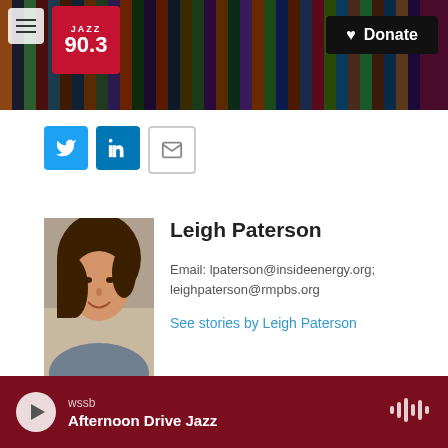JAZZ 90.3 | Donate
[Figure (screenshot): Social media share buttons: Twitter (blue bird), LinkedIn (blue in), Email (envelope icon)]
[Figure (photo): Headshot photo of Leigh Paterson, a woman with brown hair, smiling outdoors]
Leigh Paterson
Email: lpaterson@insideenergy.org; leighpaterson@rmpbs.org
See stories by Leigh Paterson
wssb  Afternoon Drive Jazz